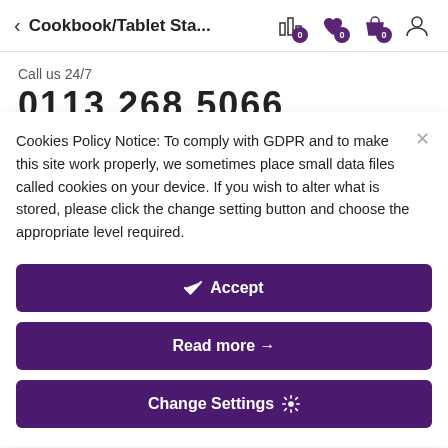< Cookbook/Tablet Sta...
Call us 24/7
0113 268 5066
Cookies Policy Notice: To comply with GDPR and to make this site work properly, we sometimes place small data files called cookies on your device. If you wish to alter what is stored, please click the change setting button and choose the appropriate level required.
✔ Accept
Read more →
Change Settings ⚙